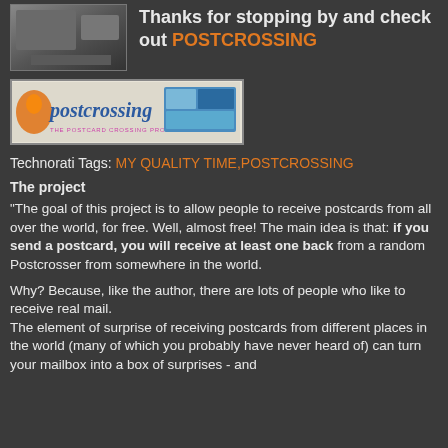[Figure (photo): A photo/image at the top left, appearing to show vehicles or a street scene]
Thanks for stopping by and check out POSTCROSSING
[Figure (logo): Postcrossing banner logo showing 'postcrossing - THE POSTCARD CROSSING PROJECT' with photos and fish images]
Technorati Tags: MY QUALITY TIME,POSTCROSSING
The project
“The goal of this project is to allow people to receive postcards from all over the world, for free. Well, almost free! The main idea is that: if you send a postcard, you will receive at least one back from a random Postcrosser from somewhere in the world.
Why? Because, like the author, there are lots of people who like to receive real mail.
The element of surprise of receiving postcards from different places in the world (many of which you probably have never heard of) can turn your mailbox into a box of surprises - and